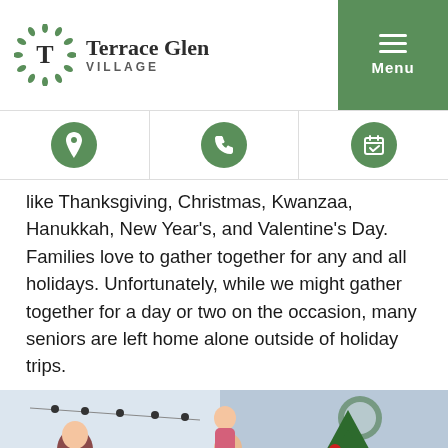Terrace Glen Village
[Figure (logo): Terrace Glen Village logo with circular leaf/dot emblem and text]
like Thanksgiving, Christmas, Kwanzaa, Hanukkah, New Year's, and Valentine's Day. Families love to gather together for any and all holidays. Unfortunately, while we might gather together for a day or two on the occasion, many seniors are left home alone outside of holiday trips.
[Figure (photo): Family with children and an elderly person decorating a Christmas tree together in a warm indoor setting]